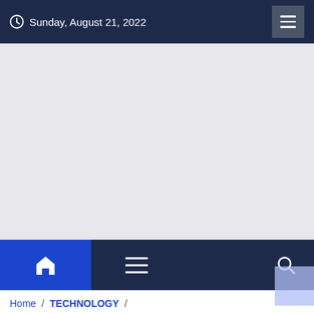Sunday, August 21, 2022
[Figure (other): Gray banner/advertisement placeholder area]
Home / TECHNOLOGY / What Should You Do In Cloud Computing – And What Is Better Not?
What Should You Do In Cloud Computing – And What Is Better Not?